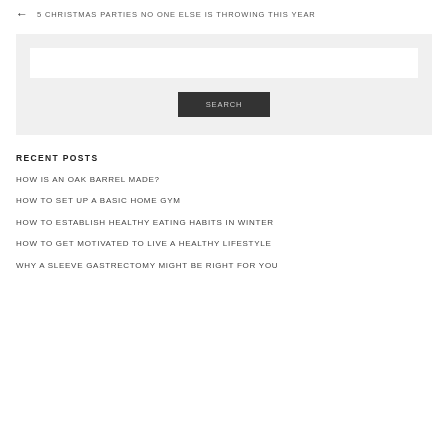← 5 CHRISTMAS PARTIES NO ONE ELSE IS THROWING THIS YEAR
[Figure (other): Search widget with a text input field and a SEARCH button, on a light grey background]
RECENT POSTS
HOW IS AN OAK BARREL MADE?
HOW TO SET UP A BASIC HOME GYM
HOW TO ESTABLISH HEALTHY EATING HABITS IN WINTER
HOW TO GET MOTIVATED TO LIVE A HEALTHY LIFESTYLE
WHY A SLEEVE GASTRECTOMY MIGHT BE RIGHT FOR YOU